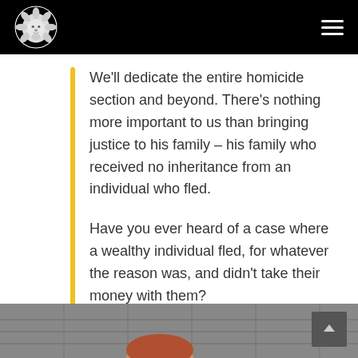[Lion logo and navigation menu]
We’ll dedicate the entire homicide section and beyond. There’s nothing more important to us than bringing justice to his family – his family who received no inheritance from an individual who fled.
Have you ever heard of a case where a wealthy individual fled, for whatever the reason was, and didn’t take their money with them?
[Figure (photo): Partial photo of a person visible at the bottom of the page, showing the top of a head with reddish-brown hair against a blurred background.]